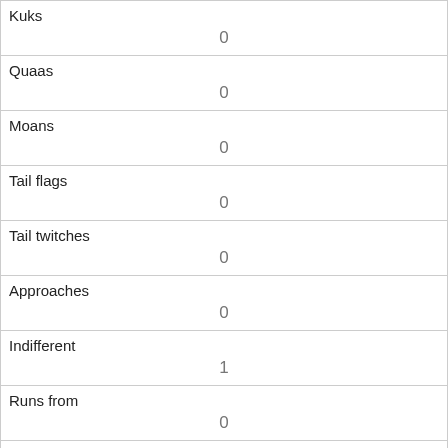| Field | Value |
| --- | --- |
| Kuks | 0 |
| Quaas | 0 |
| Moans | 0 |
| Tail flags | 0 |
| Tail twitches | 0 |
| Approaches | 0 |
| Indifferent | 1 |
| Runs from | 0 |
| Other Interactions |  |
| Lat/Long | POINT (-73.9724806580638 40.7710077206132) |